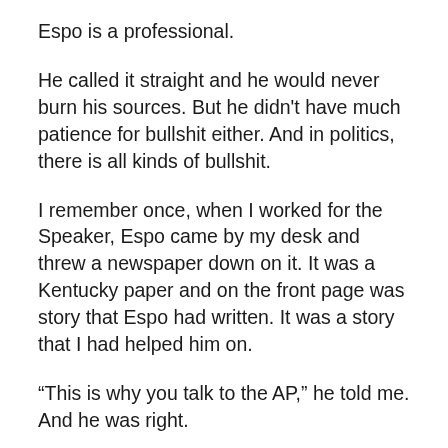Espo is a professional.
He called it straight and he would never burn his sources. But he didn't have much patience for bullshit either. And in politics, there is all kinds of bullshit.
I remember once, when I worked for the Speaker, Espo came by my desk and threw a newspaper down on it. It was a Kentucky paper and on the front page was story that Espo had written. It was a story that I had helped him on.
“This is why you talk to the AP,” he told me. And he was right.
The AP was a lifeline to the rest of America. Certainly, the Washington Post was important to an inside-the-beltway crowd. Getting a story in the New York Times and the Wall Street Journal was too. But the AP wire, at least back in the day, was beamed directly to hundreds of local newspapers and it was the news